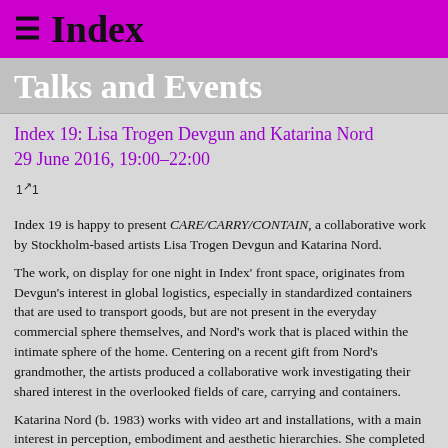☰ Index
Talks and Events
Index 19: Lisa Trogen Devgun and Katarina Nord
29 June 2016, 19:00–22:00
[Figure (other): Share/expand icon]
Index 19 is happy to present CARE/CARRY/CONTAIN, a collaborative work by Stockholm-based artists Lisa Trogen Devgun and Katarina Nord.
The work, on display for one night in Index' front space, originates from Devgun's interest in global logistics, especially in standardized containers that are used to transport goods, but are not present in the everyday commercial sphere themselves, and Nord's work that is placed within the intimate sphere of the home. Centering on a recent gift from Nord's grandmother, the artists produced a collaborative work investigating their shared interest in the overlooked fields of care, carrying and containers.
Katarina Nord (b. 1983) works with video art and installations, with a main interest in perception, embodiment and aesthetic hierarchies. She completed her BFA at Konstfack in 2015. Recent exhibitions include LOOP – A Video